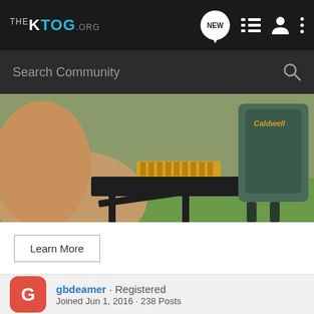THE KTOG.ORG
Search Community
[Figure (photo): Person at outdoor shooting bench with ammunition boxes and rifle rest bag (Caldwell brand visible), green grass background]
Learn More
gbdeamer · Registered
Joined Jun 1, 2016 · 238 Posts
#9 · Jun
[Figure (advertisement): TRUGLO advertisement - 'WHEN BRIGHTNESS COUNTS' with TFX PRO TRITIUM + FIBER-OPTIC EXTREME branding showing gun sights]